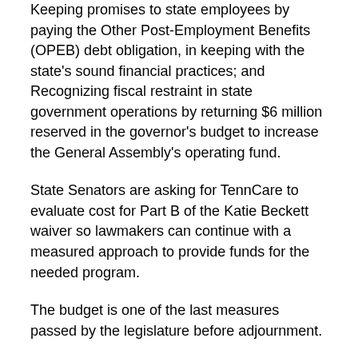Keeping promises to state employees by paying the Other Post-Employment Benefits (OPEB) debt obligation, in keeping with the state's sound financial practices; and
Recognizing fiscal restraint in state government operations by returning $6 million reserved in the governor's budget to increase the General Assembly's operating fund.
State Senators are asking for TennCare to evaluate cost for Part B of the Katie Beckett waiver so lawmakers can continue with a measured approach to provide funds for the needed program.
The budget is one of the last measures passed by the legislature before adjournment.
Legislation aiding healthcare consumers advances in Tennessee Senate
A couple of bills aiding healthcare consumers advanced in the State Senate last week, including the Tennessee